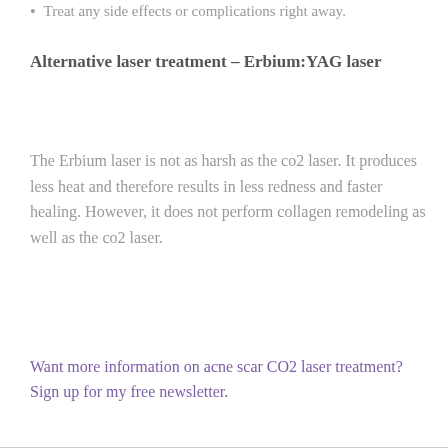Treat any side effects or complications right away.
Alternative laser treatment – Erbium:YAG laser
The Erbium laser is not as harsh as the co2 laser. It produces less heat and therefore results in less redness and faster healing. However, it does not perform collagen remodeling as well as the co2 laser.
Want more information on acne scar CO2 laser treatment? Sign up for my free newsletter.